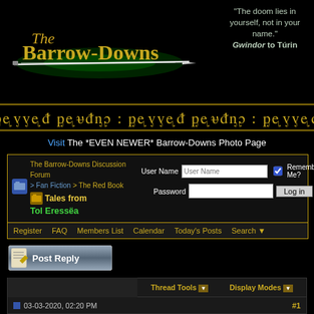[Figure (logo): The Barrow-Downs website logo with a glowing sword on black background]
"The doom lies in yourself, not in your name." Gwindor to Túrin
[Figure (other): Tengwar script decorative bar]
Visit The *EVEN NEWER* Barrow-Downs Photo Page
| The Barrow-Downs Discussion Forum > Fan Fiction > The Red Book Tales from Tol Eressëa | User Name [field] Remember Me? Password [field] Log in |
Register   FAQ   Members List   Calendar   Today's Posts   Search
[Figure (other): Post Reply button]
Thread Tools   Display Modes
03-03-2020, 02:20 PM   #1